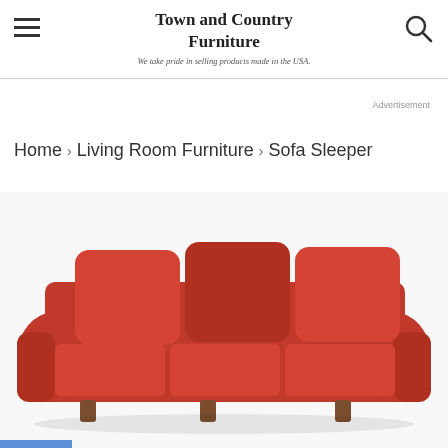Town and Country Furniture
We take pride in selling products made in the USA.
Advertisement
Home > Living Room Furniture > Sofa Sleeper
[Figure (photo): Red microfiber sofa sleeper with three cushions, flared arms, and decorative back pillows, shown on white background.]